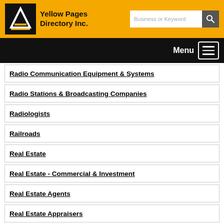Yellow Pages Directory Inc.
Radio Communication Equipment & Systems
Radio Stations & Broadcasting Companies
Radiologists
Railroads
Real Estate
Real Estate - Commercial & Investment
Real Estate Agents
Real Estate Appraisers